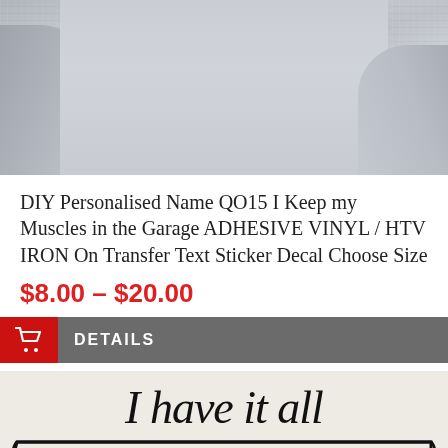[Figure (photo): Close-up photo of a person wearing a grey heathered sweatshirt, arms folded, cropped to show torso and arms only.]
DIY Personalised Name QO15 I Keep my Muscles in the Garage ADHESIVE VINYL / HTV IRON On Transfer Text Sticker Decal Choose Size
$8.00 – $20.00
DETAILS
[Figure (photo): Product photo showing vinyl decal text reading 'I have it all TOGETHER' on a light background. The word TOGETHER is displayed in a banner/ribbon style with bold block letters.]